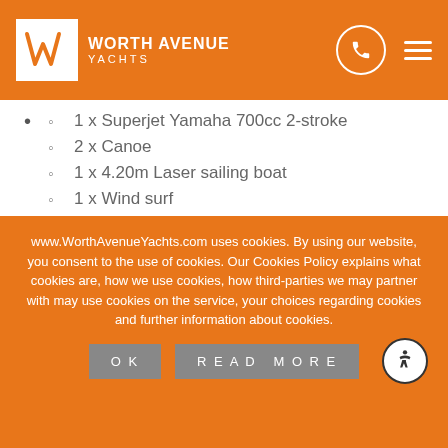Worth Avenue Yachts
1 x Superjet Yamaha 700cc 2-stroke
2 x Canoe
1 x 4.20m Laser sailing boat
1 x Wind surf
1 x SUP
DIVING EQUIPEMENT
12 x Compressed air diving cylinders
1 x Aerotecnica Coltri Diving Compressor MCH 14 Tech Nitrox
www.WorthAvenueYachts.com uses cookies. By using our website, you consent to the use of cookies. Our Cookies Policy explains what cookies are, how we use cookies, how third-parties we may partner with may use cookies on the service, your choices regarding cookies and further information about cookies.